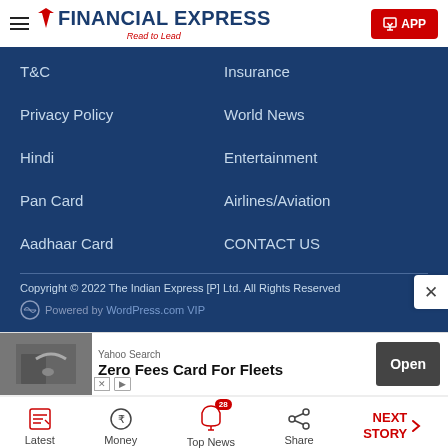Financial Express — Read to Lead | APP
T&C
Insurance
Privacy Policy
World News
Hindi
Entertainment
Pan Card
Airlines/Aviation
Aadhaar Card
CONTACT US
Copyright © 2022 The Indian Express [P] Ltd. All Rights Reserved
Powered by WordPress.com VIP
[Figure (screenshot): Advertisement banner: Yahoo Search — Zero Fees Card For Fleets — Open button]
Latest | Money | Top News (28) | Share | NEXT STORY